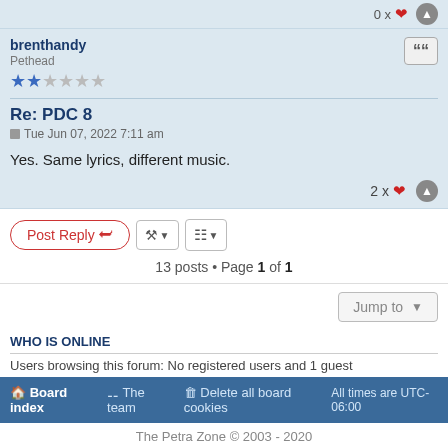0 x ❤
brenthandy
Pethead
★★☆☆☆☆
Re: PDC 8
Tue Jun 07, 2022 7:11 am
Yes. Same lyrics, different music.
2 x ❤
Post Reply | tools | sort | 13 posts • Page 1 of 1
Jump to
WHO IS ONLINE
Users browsing this forum: No registered users and 1 guest
Board index   The team   Delete all board cookies   All times are UTC-06:00
The Petra Zone © 2003 - 2020